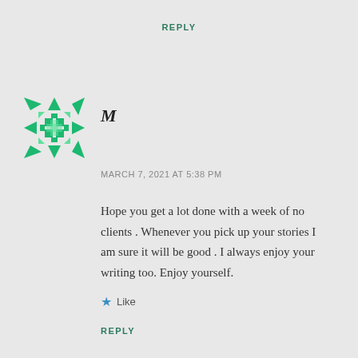REPLY
[Figure (illustration): Green geometric mosaic avatar icon made of triangles, squares and arrows arranged in a circular pattern]
M
MARCH 7, 2021 AT 5:38 PM
Hope you get a lot done with a week of no clients . Whenever you pick up your stories I am sure it will be good . I always enjoy your writing too. Enjoy yourself.
Like
REPLY